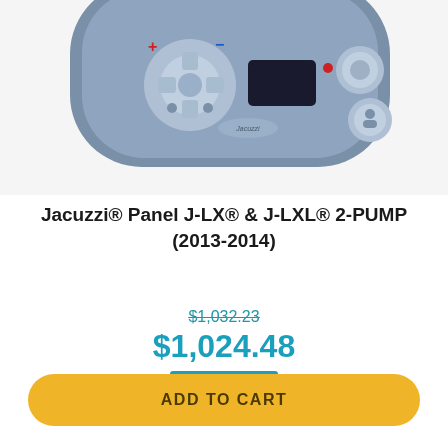[Figure (photo): Photo of a Jacuzzi control panel with oval shape, blue/gray body, directional buttons with + and - symbols, display screen, and circular buttons on right side]
Jacuzzi® Panel J-LX® & J-LXL® 2-PUMP (2013-2014)
$1,032.23 (strikethrough original price)
$1,024.48 (sale price)
SAVE 1%
ADD TO CART